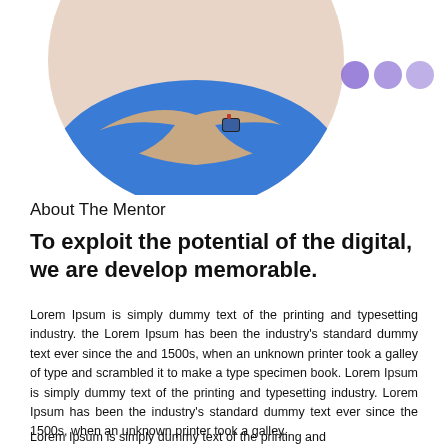[Figure (photo): Person in blue shirt with arms crossed, wearing a smartwatch, partially cropped circular portrait with decorative purple dots in the upper right area]
About The Mentor
To exploit the potential of the digital, we are develop memorable.
Lorem Ipsum is simply dummy text of the printing and typesetting industry. the Lorem Ipsum has been the industry's standard dummy text ever since the and 1500s, when an unknown printer took a galley of type and scrambled it to make a type specimen book. Lorem Ipsum is simply dummy text of the printing and typesetting industry. Lorem Ipsum has been the industry's standard dummy text ever since the 1500s, when an unknown printer took a galley.
Lorem Ipsum is simply dummy text of the printing and